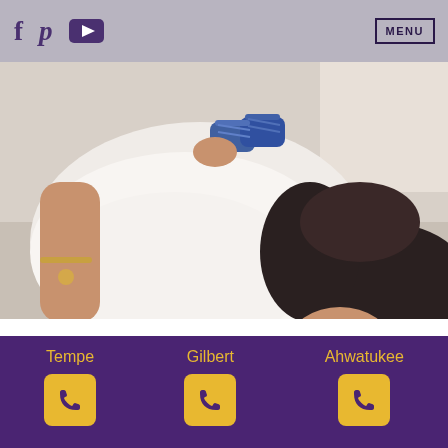f  p  [YouTube icon]  MENU
[Figure (photo): A pregnant woman lying down in a white t-shirt, holding blue baby shoes over her belly. She has dark hair and is wearing a gold bracelet.]
Pregnancy can be a time for joy, but it can also be a time for worry. Aside from common
Tempe  Gilbert  Ahwatukee  [phone icons]